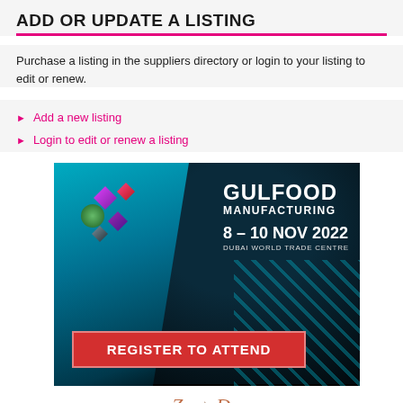ADD OR UPDATE A LISTING
Purchase a listing in the suppliers directory or login to your listing to edit or renew.
Add a new listing
Login to edit or renew a listing
[Figure (illustration): Gulfood Manufacturing advertisement banner. Dark background with teal geometric shapes. Logo text: GULFOOD MANUFACTURING. Date: 8 – 10 NOV 2022. Venue: DUBAI WORLD TRADE CENTRE. Red button: REGISTER TO ATTEND.]
[Figure (logo): Partial logo at bottom of page with stylized italic script text in orange/copper color, with a decorative symbol.]